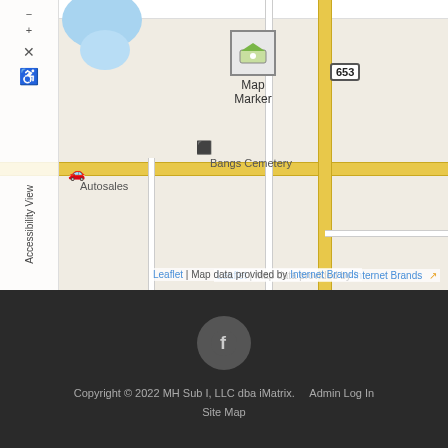[Figure (map): Street map showing Bangs Cemetery area with a Map Marker, road 653, Autosales location, and Accessibility View sidebar]
Leaflet | Map data provided by Internet Brands
[Figure (logo): Facebook icon circle button in dark footer]
Copyright © 2022 MH Sub I, LLC dba iMatrix.  Admin Log In  Site Map